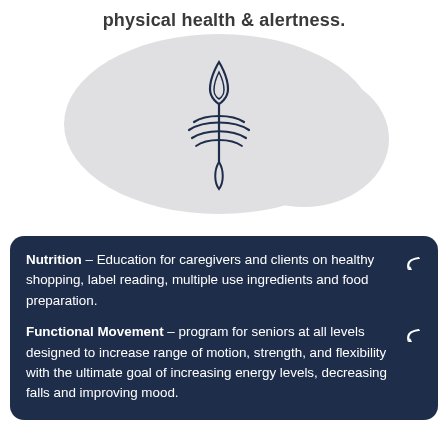physical health & alertness.
[Figure (illustration): A speech bubble shape in light gray containing a dark navy stylized feather/flame logo in the center]
Nutrition – Education for caregivers and clients on healthy shopping, label reading, multiple use ingredients and food preparation.
Functional Movement – program for seniors at all levels designed to increase range of motion, strength, and flexibility with the ultimate goal of increasing energy levels, decreasing falls and improving mood.